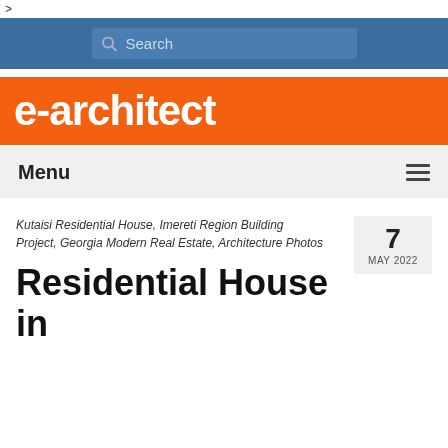>
[Figure (screenshot): Search bar with magnifying glass icon on a blue background]
[Figure (logo): e-architect logo, white text on orange background]
Menu
Kutaisi Residential House, Imereti Region Building Project, Georgia Modern Real Estate, Architecture Photos
7 MAY 2022
Residential House in